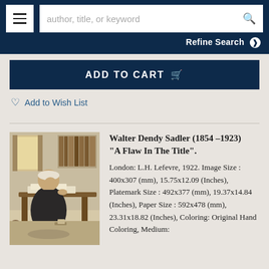author, title, or keyword [search bar] | Refine Search
ADD TO CART
Add to Wish List
[Figure (illustration): Monochromatic engraving or print showing an elderly scholar or lawyer seated at a desk, leaning forward, surrounded by books and papers in a study setting]
Walter Dendy Sadler (1854 –1923) "A Flaw In The Title".
London: L.H. Lefevre, 1922. Image Size : 400x307 (mm), 15.75x12.09 (Inches), Platemark Size : 492x377 (mm), 19.37x14.84 (Inches), Paper Size : 592x478 (mm), 23.31x18.82 (Inches), Coloring: Original Hand Coloring, Medium: